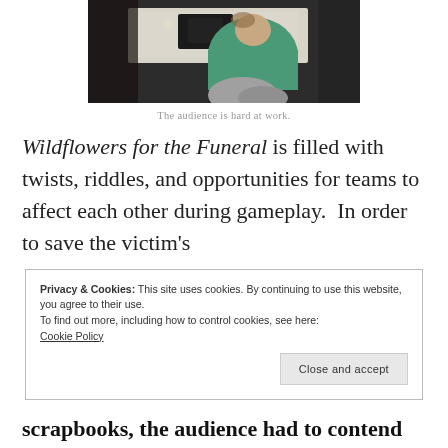[Figure (photo): A person sitting at a table, leaning forward and appearing to be working or writing, wearing a green top. Partial view of a table with items on it.]
The audience is hard at work.
Wildflowers for the Funeral is filled with twists, riddles, and opportunities for teams to affect each other during gameplay.  In order to save the victim's
Privacy & Cookies: This site uses cookies. By continuing to use this website, you agree to their use.
To find out more, including how to control cookies, see here:
Cookie Policy
Close and accept
scrapbooks, the audience had to contend